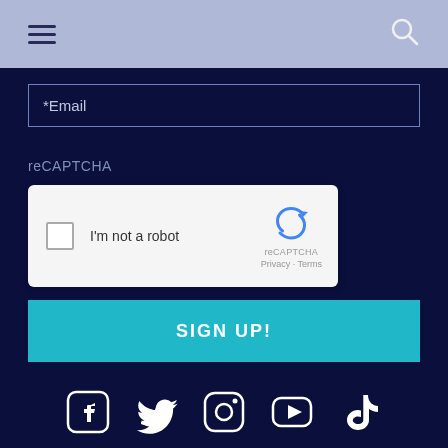[Figure (screenshot): Navigation bar with hamburger menu icon on left and search icon on right, on a light blue-grey background]
[Figure (screenshot): Email input field with placeholder text *Email on dark navy background]
reCAPTCHA
[Figure (screenshot): reCAPTCHA widget with checkbox, 'I'm not a robot' text, reCAPTCHA logo, Privacy and Terms links]
[Figure (screenshot): Teal SIGN UP! button]
[Figure (screenshot): Social media icons row: Facebook, Twitter, Instagram, YouTube, TikTok]
LOOKING FOR MORE